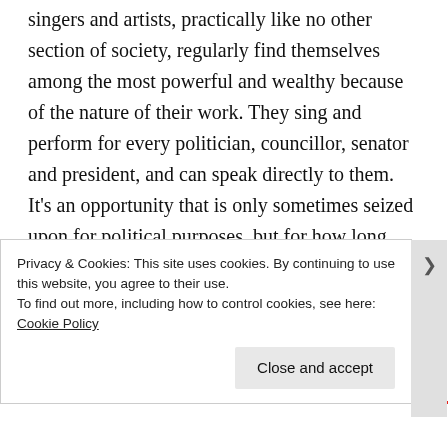singers and artists, practically like no other section of society, regularly find themselves among the most powerful and wealthy because of the nature of their work. They sing and perform for every politician, councillor, senator and president, and can speak directly to them. It's an opportunity that is only sometimes seized upon for political purposes, but for how long more will singers and musicians be patient with their powerful audiences in the face of our environmental challenge?
Finally, musicians and composers are often inspired to engage with the issues of their time through their own
Privacy & Cookies: This site uses cookies. By continuing to use this website, you agree to their use.
To find out more, including how to control cookies, see here: Cookie Policy